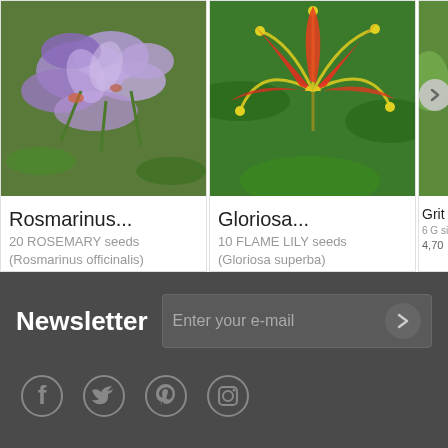[Figure (photo): Purple/lavender rosemary flowers close-up]
Rosmarinus...
20 ROSEMARY seeds (Rosmarinus officinalis)
2,99 €
[Figure (photo): Yellow-red Gloriosa flame lily flower]
Gloriosa...
10 FLAME LILY seeds (Gloriosa superba)
3,45 €
[Figure (photo): Partially visible third product card]
Grit
6 G sim|
4,70
Newsletter
Enter your e-mail
[Figure (infographic): Social media icons: Facebook, Twitter, Pinterest, Instagram]